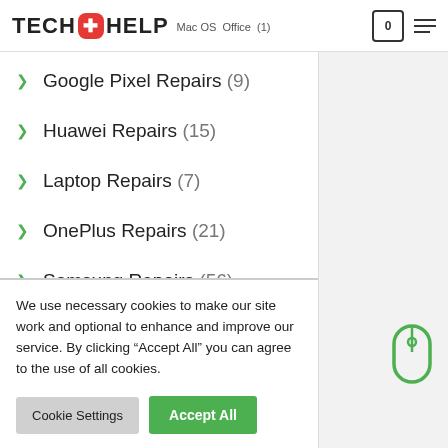TECH HELP - Mac OS Office (1)
Google Pixel Repairs (9)
Huawei Repairs (15)
Laptop Repairs (7)
OnePlus Repairs (21)
Samsung Repairs (56)
Surface Pro Repairs (6)
We use necessary cookies to make our site work and optional to enhance and improve our service. By clicking “Accept All” you can agree to the use of all cookies.
Cookie Settings | Accept All